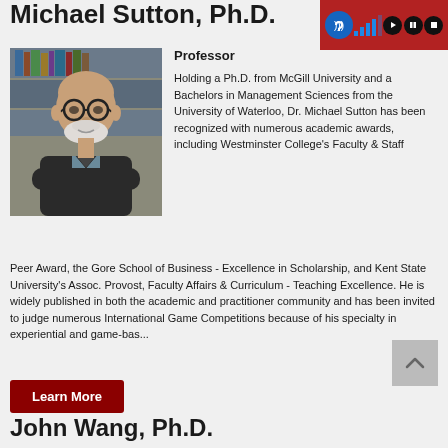Michael Sutton, Ph.D.
[Figure (photo): Headshot of Michael Sutton, Ph.D., a bald man with a white beard wearing glasses and a black jacket, seated in front of bookshelves.]
Professor
Holding a Ph.D. from McGill University and a Bachelors in Management Sciences from the University of Waterloo, Dr. Michael Sutton has been recognized with numerous academic awards, including Westminster College's Faculty & Staff Peer Award, the Gore School of Business - Excellence in Scholarship, and Kent State University's Assoc. Provost, Faculty Affairs & Curriculum - Teaching Excellence. He is widely published in both the academic and practitioner community and has been invited to judge numerous International Game Competitions because of his specialty in experiential and game-bas...
Learn More
John Wang, Ph.D.